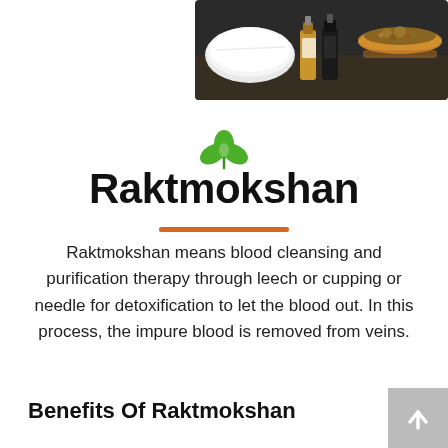[Figure (photo): Photo of essential oil bottles, a rolled white towel, and a wooden bowl with dried herbs/flowers on a dark background]
[Figure (illustration): Green leaf/plant icon representing Ayurveda or natural medicine]
Raktmokshan
Raktmokshan means blood cleansing and purification therapy through leech or cupping or needle for detoxification to let the blood out. In this process, the impure blood is removed from veins.
Benefits Of Raktmokshan